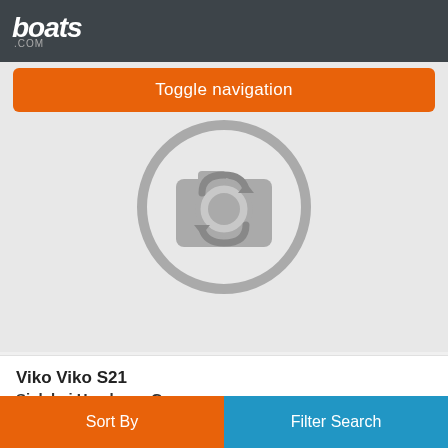boats.com
Toggle navigation
[Figure (illustration): Placeholder image with a camera icon (circle with crossed camera symbol) on a light grey background]
Viko Viko S21
Siek bei Hamburg, Germany
2017
£20,147
Seller Yachthandel Hamburg
Sort By
Filter Search